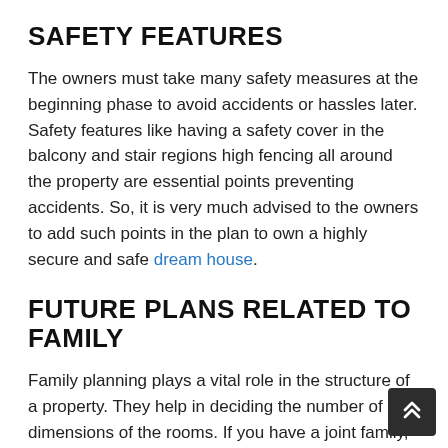SAFETY FEATURES
The owners must take many safety measures at the beginning phase to avoid accidents or hassles later. Safety features like having a safety cover in the balcony and stair regions high fencing all around the property are essential points preventing accidents. So, it is very much advised to the owners to add such points in the plan to own a highly secure and safe dream house.
FUTURE PLANS RELATED TO FAMILY
Family planning plays a vital role in the structure of a property. They help in deciding the number of dimensions of the rooms. If you have a joint family, choose a house plan that comprises more rooms and ensures privacy. Similarly, a compact and